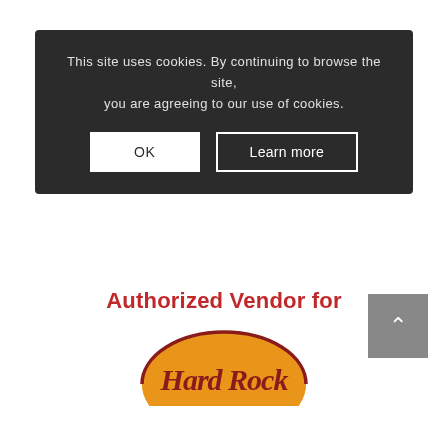This site uses cookies. By continuing to browse the site, you are agreeing to our use of cookies.
[Figure (screenshot): Cookie consent banner with dark background, OK button and Learn more button]
Authorized Vendor for
[Figure (logo): Hard Rock cafe logo — orange semi-circle with Hard Rock text in dark red italic bold lettering]